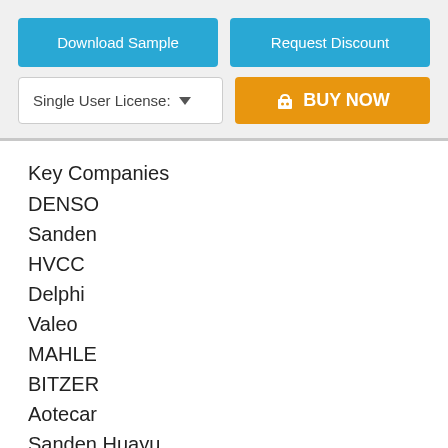[Figure (screenshot): Download Sample button (blue)]
[Figure (screenshot): Request Discount button (blue)]
[Figure (screenshot): Single User License dropdown]
[Figure (screenshot): BUY NOW button (orange)]
Key Companies
DENSO
Sanden
HVCC
Delphi
Valeo
MAHLE
BITZER
Aotecar
Sanden Huayu
JIANSHE
Sanden Zhongye Cl...